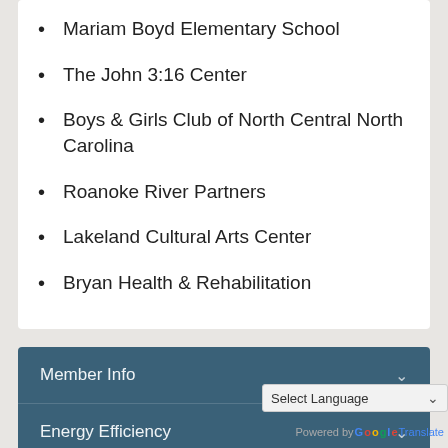Mariam Boyd Elementary School
The John 3:16 Center
Boys & Girls Club of North Central North Carolina
Roanoke River Partners
Lakeland Cultural Arts Center
Bryan Health & Rehabilitation
Member Info
Energy Efficiency
Community